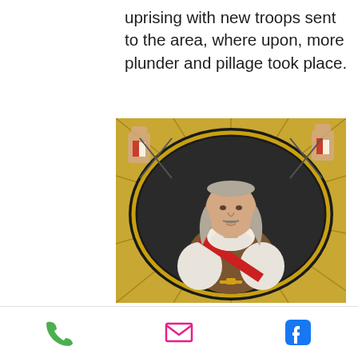uprising with new troops sent to the area, where upon, more plunder and pillage took place.
[Figure (photo): A painted or carved bust sculpture of a 17th-century military figure wearing a red sash, white lace collar, and brown armor, set within a black oval frame decorated with gold rays and weapons on a golden background.]
Phone icon, Email icon, Facebook icon